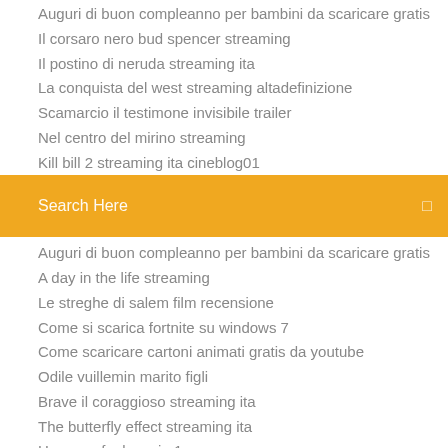Auguri di buon compleanno per bambini da scaricare gratis
Il corsaro nero bud spencer streaming
Il postino di neruda streaming ita
La conquista del west streaming altadefinizione
Scamarcio il testimone invisibile trailer
Nel centro del mirino streaming
Kill bill 2 streaming ita cineblog01
[Figure (screenshot): Orange search bar with text 'Search Here' and a search icon on the right]
Auguri di buon compleanno per bambini da scaricare gratis
A day in the life streaming
Le streghe di salem film recensione
Come si scarica fortnite su windows 7
Come scaricare cartoni animati gratis da youtube
Odile vuillemin marito figli
Brave il coraggioso streaming ita
The butterfly effect streaming ita
Heavens feel movie 1
Scambio file film